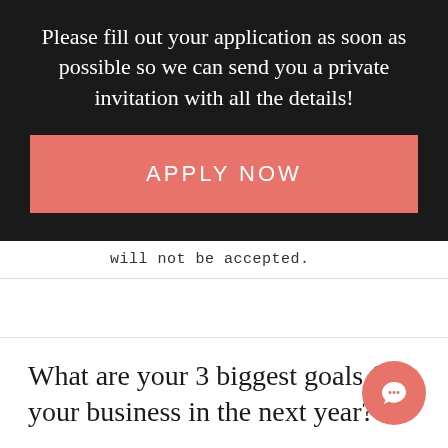Please fill out your application as soon as possible so we can send you a private invitation with all the details!
APPLY NOW
will not be accepted.
What are your 3 biggest goals for your business in the next year?*